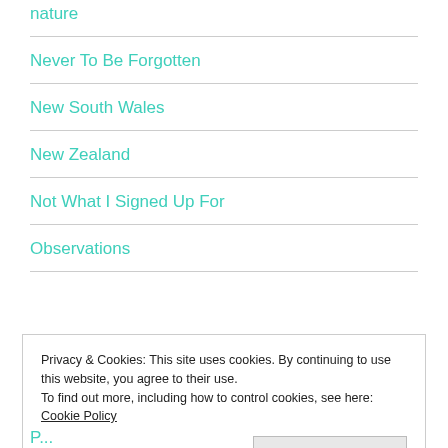nature
Never To Be Forgotten
New South Wales
New Zealand
Not What I Signed Up For
Observations
Privacy & Cookies: This site uses cookies. By continuing to use this website, you agree to their use.
To find out more, including how to control cookies, see here: Cookie Policy
P...